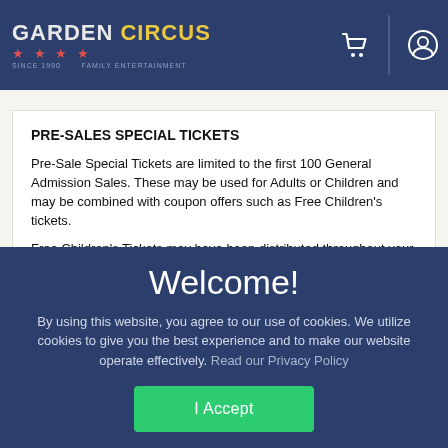[Figure (logo): Garden Circus logo with stars on dark blue navigation bar with cart and user icons]
PRE-SALES SPECIAL TICKETS
Pre-Sale Special Tickets are limited to the first 100 General Admission Sales. These may be used for Adults or Children and may be combined with coupon offers such as Free Children's tickets.
Free Children's Tickets may have been distributed throughout your area in Fast Food Restaurants, Convenience Stores,
Welcome!
By using this website, you agree to our use of cookies. We utilize cookies to give you the best experience and to make our website operate effectively. Read our Privacy Policy
I Accept